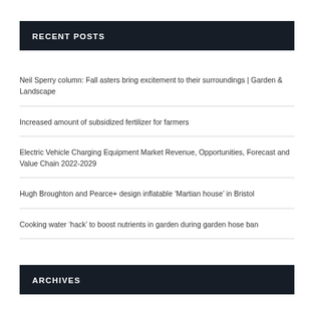RECENT POSTS
Neil Sperry column: Fall asters bring excitement to their surroundings | Garden & Landscape
Increased amount of subsidized fertilizer for farmers
Electric Vehicle Charging Equipment Market Revenue, Opportunities, Forecast and Value Chain 2022-2029
Hugh Broughton and Pearce+ design inflatable ‘Martian house’ in Bristol
Cooking water ‘hack’ to boost nutrients in garden during garden hose ban
ARCHIVES